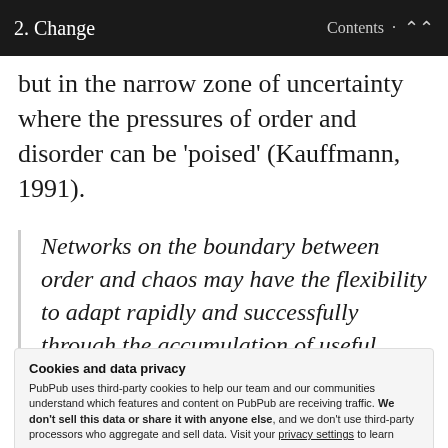2. Change    Contents
but in the narrow zone of uncertainty where the pressures of order and disorder can be 'poised' (Kauffmann, 1991).
Networks on the boundary between order and chaos may have the flexibility to adapt rapidly and successfully through the accumulation of useful variations. ...
Cookies and data privacy
PubPub uses third-party cookies to help our team and our communities understand which features and content on PubPub are receiving traffic. We don't sell this data or share it with anyone else, and we don't use third-party processors who aggregate and sell data. Visit your privacy settings to learn more.
observed in organisms. (Kauffman,